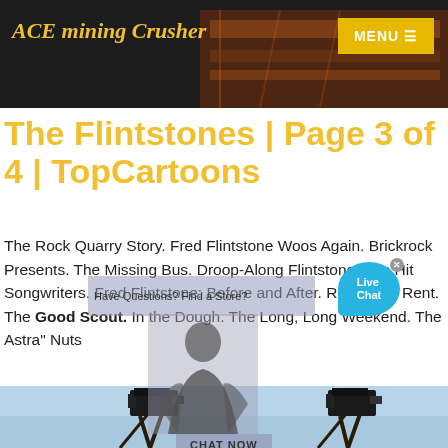ACE mining Crusher
The Flintstones | Page 3 of 4 | TopCartoons
The Rock Quarry Story. Fred Flintstone Woos Again. Brickrock Presents. The Missing Bus. Droop-Along Flintstone. The Hit Songwriters. Fred Flintstone: Before and After. Rooms for Rent. The Good Scout. In the Dough. The Long, Long Weekend. The Astra" Nuts
Contact us
[Figure (photo): Bottom banner showing two industrial crusher/mining equipment units on tripods against a light blue sky background]